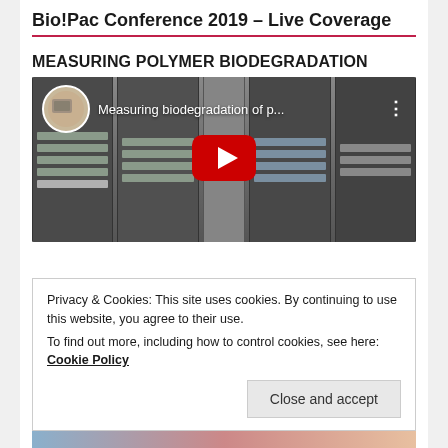Bio!Pac Conference 2019 – Live Coverage
MEASURING POLYMER BIODEGRADATION
[Figure (screenshot): YouTube video thumbnail showing laboratory equipment (cabinets with polymer biodegradation testing apparatus) with title 'Measuring biodegradation of p...' and a red YouTube play button in the center.]
Privacy & Cookies: This site uses cookies. By continuing to use this website, you agree to their use.
To find out more, including how to control cookies, see here: Cookie Policy
Close and accept
INFLATION & SHORTAGE
[Figure (photo): Partial image at bottom of page showing what appears to be hands or people, with blue and reddish tones.]